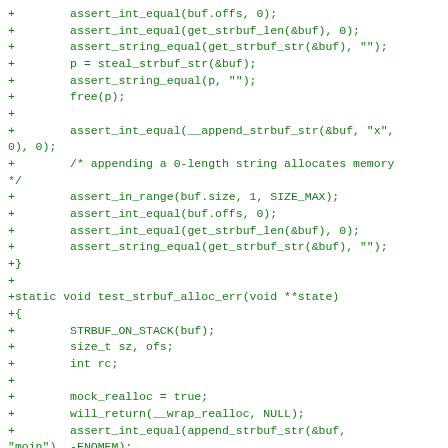[Figure (screenshot): Source code diff showing C test functions for strbuf operations, green monospace text on white background. Shows lines with + prefix indicating added lines in a patch/diff format.]